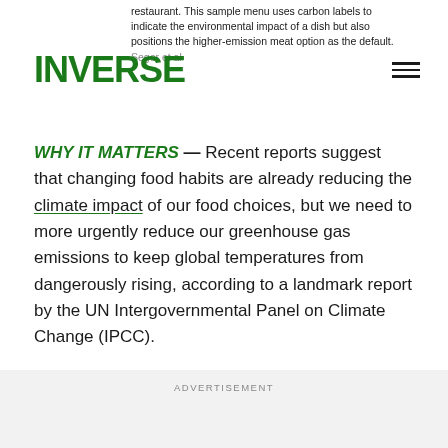restaurant. This sample menu uses carbon labels to indicate the environmental impact of a dish but also positions the higher-emission meat option as the default. Seger et al
[Figure (logo): INVERSE logo in bold green capital letters]
WHY IT MATTERS — Recent reports suggest that changing food habits are already reducing the climate impact of our food choices, but we need to more urgently reduce our greenhouse gas emissions to keep global temperatures from dangerously rising, according to a landmark report by the UN Intergovernmental Panel on Climate Change (IPCC).
ADVERTISEMENT